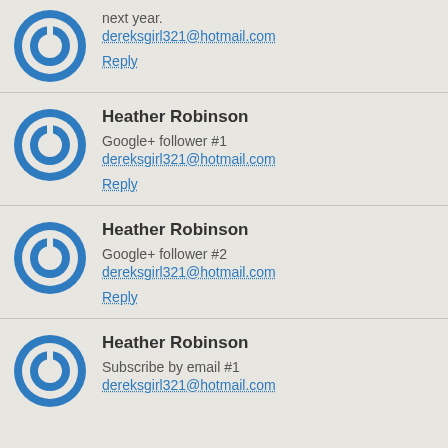next year.
dereksgirl321@hotmail.com
Reply
Heather Robinson
Google+ follower #1
dereksgirl321@hotmail.com
Reply
Heather Robinson
Google+ follower #2
dereksgirl321@hotmail.com
Reply
Heather Robinson
Subscribe by email #1
dereksgirl321@hotmail.com